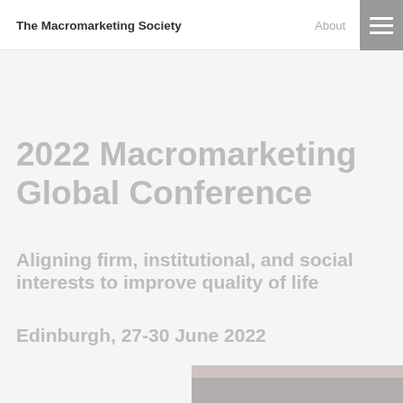The Macromarketing Society
2022 Macromarketing Global Conference
Aligning firm, institutional, and social interests to improve quality of life
Edinburgh, 27-30 June 2022
[Figure (photo): Partial background image strip at bottom right of the hero section]